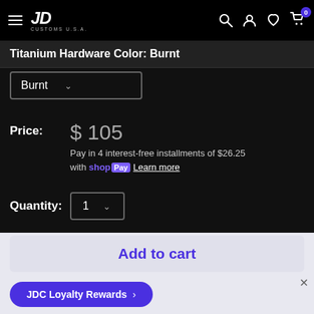JD Customs U.S.A. — navigation header with hamburger menu, logo, search, account, wishlist, cart (0)
Titanium Hardware Color: Burnt
Burnt (dropdown)
Price: $ 105
Pay in 4 interest-free installments of $26.25 with shop Pay Learn more
Quantity: 1
Add to cart
Become a JD Custom MSy and earns perks for signing up making purchases, and more
JDC Loyalty Rewards